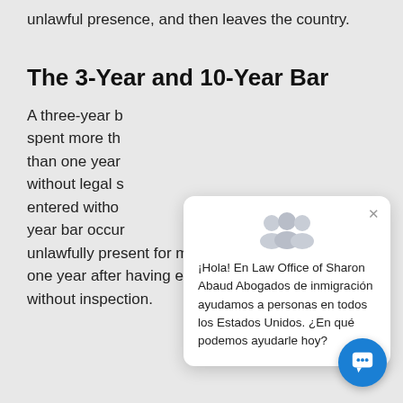to 1 year, or more with one year of unlawful presence, and then leaves the country.
The 3-Year and 10-Year Bar
A three-year bar spent more than than one year without legal s entered witho year bar occur unlawfully present for more than one year after having entered without inspection.
[Figure (screenshot): Chat popup overlay from Law Office of Sharon Abaud immigration law firm, with Spanish text: ¡Hola! En Law Office of Sharon Abaud Abogados de inmigración ayudamos a personas en todos los Estados Unidos. ¿En qué podemos ayudarle hoy?]
[Figure (other): Blue circular chat button with speech bubble icon in bottom right corner]